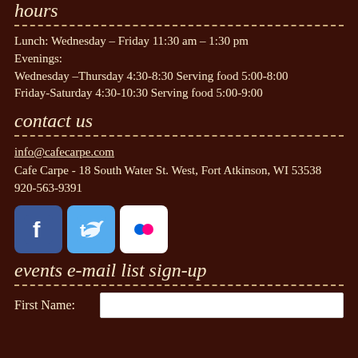hours
Lunch: Wednesday – Friday 11:30 am – 1:30 pm
Evenings:
Wednesday –Thursday 4:30-8:30 Serving food 5:00-8:00
Friday-Saturday 4:30-10:30 Serving food 5:00-9:00
contact us
info@cafecarpe.com
Cafe Carpe - 18 South Water St. West, Fort Atkinson, WI 53538
920-563-9391
[Figure (illustration): Social media icons: Facebook, Twitter, Flickr]
events e-mail list sign-up
First Name: